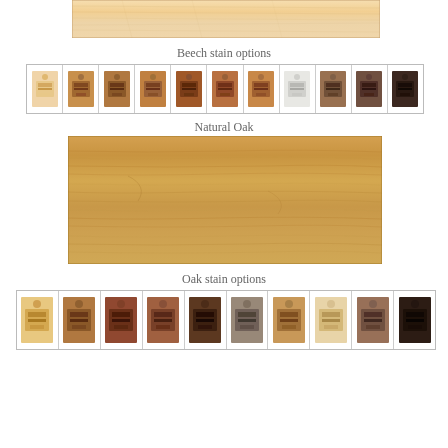[Figure (photo): Beech wood veneer strip showing natural light tan wood grain texture]
Beech stain options
[Figure (other): Row of 11 beech stain color swatches showing various wood stain shades from natural to dark]
Natural Oak
[Figure (photo): Natural Oak wood veneer strip showing warm golden-brown wood grain texture]
Oak stain options
[Figure (other): Row of 10 oak stain color swatches showing various wood stain shades]